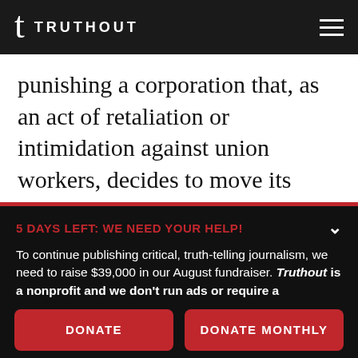TRUTHOUT
punishing a corporation that, as an act of retaliation or intimidation against union workers, decides to move its operations out of a
5 DAYS LEFT: WE NEED YOUR HELP!
To continue publishing critical, truth-telling journalism, we need to raise $39,000 in our August fundraiser. Truthout is a nonprofit and we don't run ads or require a subscription – instead, we depend on small donations to survive. Can we count on your support before time runs out?
DONATE
DONATE MONTHLY